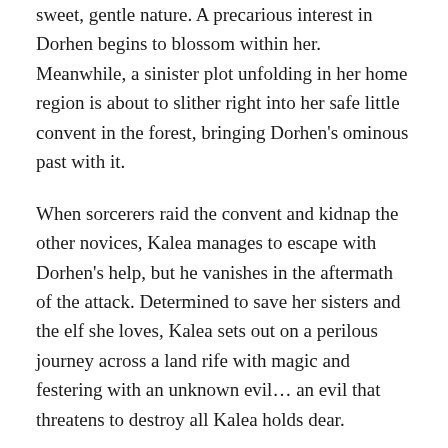sweet, gentle nature. A precarious interest in Dorhen begins to blossom within her. Meanwhile, a sinister plot unfolding in her home region is about to slither right into her safe little convent in the forest, bringing Dorhen's ominous past with it.
When sorcerers raid the convent and kidnap the other novices, Kalea manages to escape with Dorhen's help, but he vanishes in the aftermath of the attack. Determined to save her sisters and the elf she loves, Kalea sets out on a perilous journey across a land rife with magic and festering with an unknown evil… an evil that threatens to destroy all Kalea holds dear.
Pre-order the book here: